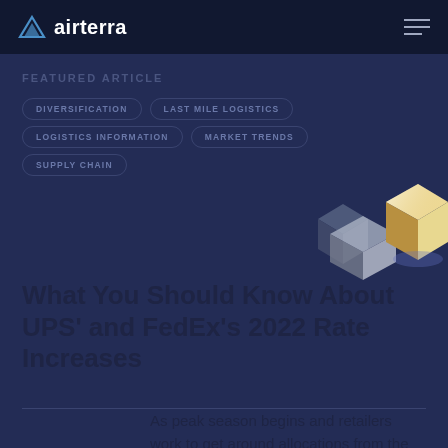airterra
FEATURED ARTICLE
DIVERSIFICATION
LAST MILE LOGISTICS
LOGISTICS INFORMATION
MARKET TRENDS
SUPPLY CHAIN
[Figure (illustration): Two 3D rendered boxes/cubes: one gray matte cube on the left and one gold/white glossy cube on the right, with a smaller gray shape partially visible, on a dark navy background.]
What You Should Know About UPS’ and FedEx’s 2022 Rate Increases
As peak season begins and retailers work to get around allocations from the duopoly,